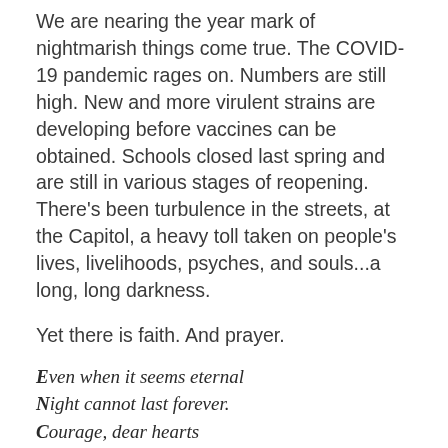We are nearing the year mark of nightmarish things come true. The COVID-19 pandemic rages on. Numbers are still high. New and more virulent strains are developing before vaccines can be obtained. Schools closed last spring and are still in various stages of reopening. There's been turbulence in the streets, at the Capitol, a heavy toll taken on people's lives, livelihoods, psyches, and souls...a long, long darkness.
Yet there is faith. And prayer.
Even when it seems eternal
Night cannot last forever.
Courage, dear hearts
One guides you onward
Until the morning comes.
Remember you are never